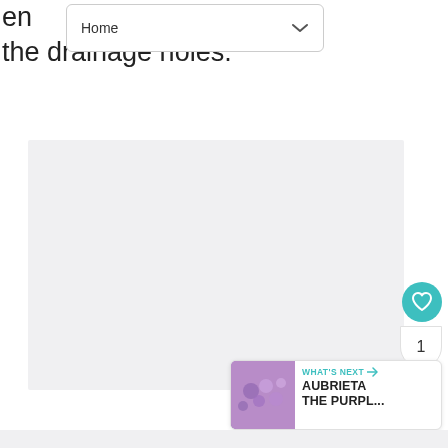[Figure (screenshot): Navigation bar dropdown with 'Home' label and chevron down arrow]
en... the drainage holes.
[Figure (photo): Large light grey placeholder image area]
[Figure (infographic): Teal heart/like button, count bubble showing '1', and share button on the right side]
[Figure (infographic): What's next card showing 'AUBRIETA THE PURPL...' with purple flower thumbnail]